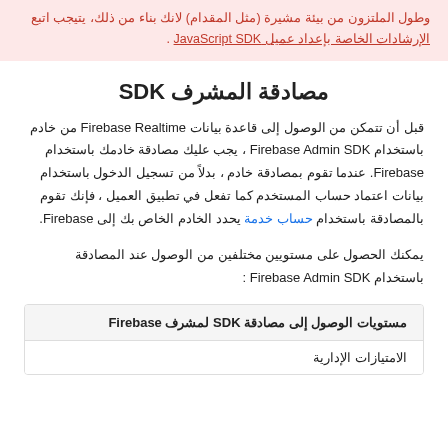وطول الملتزون من بيئة مشيرة (مثل المقدام) لانك بناء من ذلك، يتيجب اتبع الإرشادات الخاصة بإعداد عميل JavaScript SDK .
مصادقة المشرف SDK
قبل أن تتمكن من الوصول إلى قاعدة بيانات Firebase Realtime من خادم باستخدام Firebase Admin SDK ، يجب عليك مصادقة خادمك باستخدام Firebase. عندما تقوم بمصادقة خادم ، بدلاً من تسجيل الدخول باستخدام بيانات اعتماد حساب المستخدم كما تفعل في تطبيق العميل ، فإنك تقوم بالمصادقة باستخدام حساب خدمة يحدد الخادم الخاص بك إلى Firebase.
يمكنك الحصول على مستويين مختلفين من الوصول عند المصادقة باستخدام Firebase Admin SDK :
| مستويات الوصول إلى مصادقة SDK لمشرف Firebase |
| --- |
| الامتيازات الإدارية |